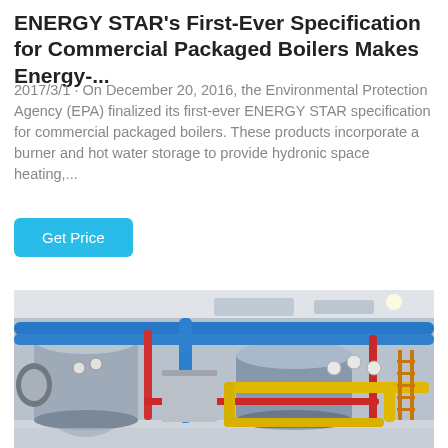ENERGY STAR's First-Ever Specification for Commercial Packaged Boilers Makes Energy-...
2017/3/1 · On December 20, 2016, the Environmental Protection Agency (EPA) finalized its first-ever ENERGY STAR specification for commercial packaged boilers. These products incorporate a burner and hot water storage to provide hydronic space heating,...
Get Price
[Figure (photo): Industrial boiler room with large cylindrical commercial packaged boilers. The boilers are connected by blue, red, and yellow pipes. Equipment includes gauges, valves, and ladders in a white industrial room.]